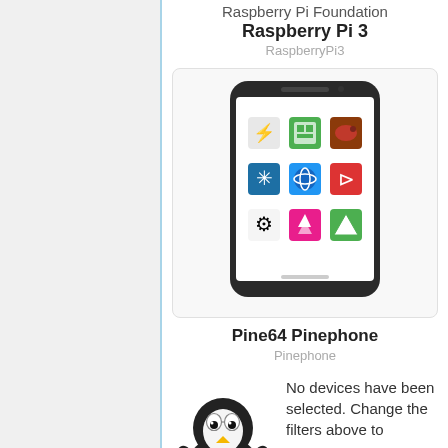Raspberry Pi Foundation
Raspberry Pi 3
RaspberryPi3
[Figure (screenshot): Screenshot of a smartphone showing a grid of Linux distribution logos including KDE, Fedora, and others — Pine64 Pinephone]
Pine64 Pinephone
Pinephone
[Figure (illustration): Tux the Linux penguin mascot illustration]
No devices have been selected. Change the filters above to